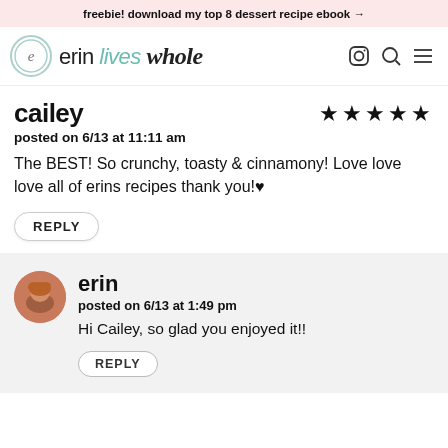freebie! download my top 8 dessert recipe ebook →
erin lives whole
cailey
posted on 6/13 at 11:11 am
The BEST! So crunchy, toasty & cinnamony! Love love love all of erins recipes thank you!♥
REPLY
erin
posted on 6/13 at 1:49 pm
Hi Cailey, so glad you enjoyed it!!
REPLY